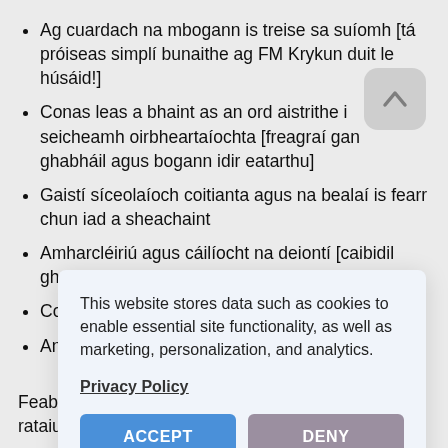Ag cuardach na mbogann is treise sa suíomh [tá próiseas simplí bunaithe ag FM Krykun duit le húsáid!]
Conas leas a bhaint as an ord aistrithe i seicheamh oirbheartaíochta [freagraí gan ghabháil agus bogann idir eatarthu]
Gaistí síceolaíoch coitianta agus na bealaí is fearr chun iad a sheachaint
Amharcléiriú agus cáilíocht na deiontí [caibidil ghearr...]
Conas suíomh... dinimici...
An mh... agus 'g...
Feabhsaigh i do chluich chéad lúibín. rataiu site.
[Figure (screenshot): Cookie consent modal with text: 'This website stores data such as cookies to enable essential site functionality, as well as marketing, personalization, and analytics.' with Privacy Policy link and ACCEPT / DENY buttons]
[Figure (other): Scroll-to-top button (upward chevron) in top-right area]